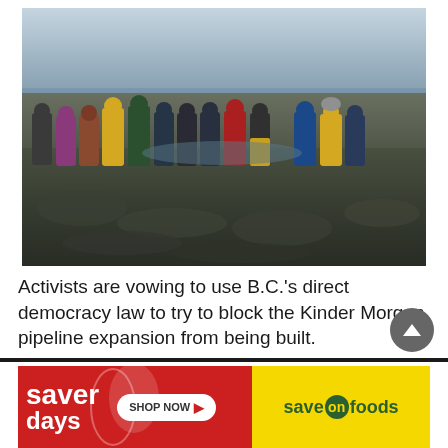[Figure (photo): A group of approximately 13 activists standing on a rocky shoreline, wearing rain gear and outdoor clothing in various colors including yellow, blue, purple, and green. The sky is overcast and grey. Rocky terrain covered with seaweed is visible in the foreground.]
Activists are vowing to use B.C.'s direct democracy law to try to block the Kinder Morgan pipeline expansion from being built.